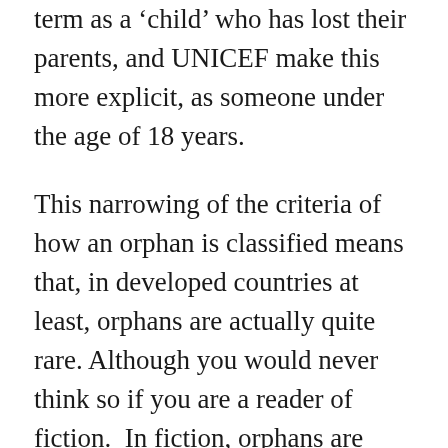term as a 'child' who has lost their parents, and UNICEF make this more explicit, as someone under the age of 18 years.
This narrowing of the criteria of how an orphan is classified means that, in developed countries at least, orphans are actually quite rare. Although you would never think so if you are a reader of fiction.  In fiction, orphans are rife. Particularly in Fantasy and YA fiction.  It would seem that it is only by being bereft of the boring restrictions of any form of parental control that any self-respecting YA protagonist can be released to embark on any kind of noteworthy